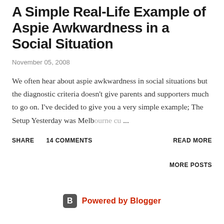A Simple Real-Life Example of Aspie Awkwardness in a Social Situation
November 05, 2008
We often hear about aspie awkwardness in social situations but the diagnostic criteria doesn't give parents and supporters much to go on. I've decided to give you a very simple example; The Setup Yesterday was Melbourne cu …
SHARE   14 COMMENTS   READ MORE
MORE POSTS
Powered by Blogger